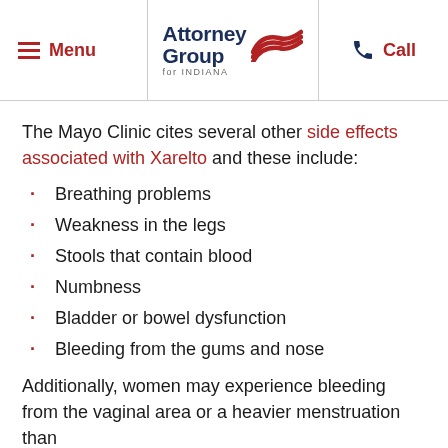Menu | Attorney Group for Indiana | Call
The Mayo Clinic cites several other side effects associated with Xarelto and these include:
Breathing problems
Weakness in the legs
Stools that contain blood
Numbness
Bladder or bowel dysfunction
Bleeding from the gums and nose
Additionally, women may experience bleeding from the vaginal area or a heavier menstruation than